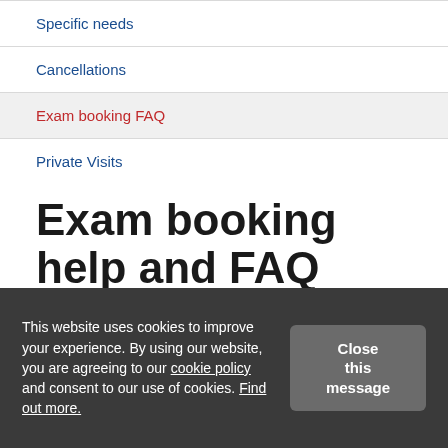Specific needs
Cancellations
Exam booking FAQ
Private Visits
Exam booking help and FAQ
Answers to frequently asked questions about entering ABRSM
This website uses cookies to improve your experience. By using our website, you are agreeing to our cookie policy and consent to our use of cookies. Find out more.